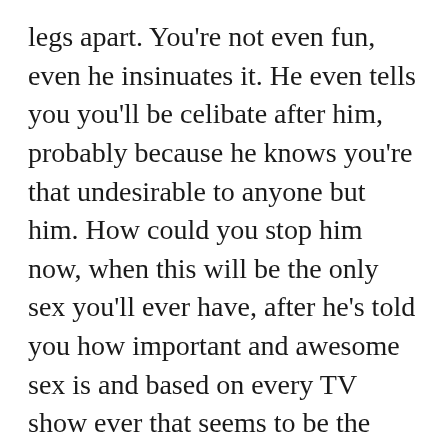legs apart. You're not even fun, even he insinuates it. He even tells you you'll be celibate after him, probably because he knows you're that undesirable to anyone but him. How could you stop him now, when this will be the only sex you'll ever have, after he's told you how important and awesome sex is and based on every TV show ever that seems to be the truth?
The one good thing left about you is that anyone wants to have sex with you. If you stop now you'll be nothing. Absolutely nothing. And he has been so good to you in